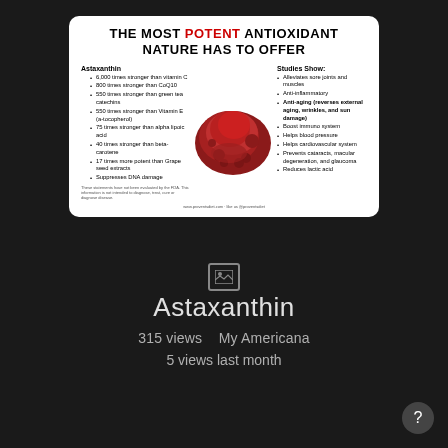[Figure (infographic): Health infographic about Astaxanthin as the most potent antioxidant. Left column lists: 6,000 times stronger than vitamin C; 800 times stronger than CoQ10; 550 times stronger than green tea catechins; 550 times stronger than Vitamin E (a-tocopherol); 75 times stronger than alpha lipoic acid; 40 times stronger than beta-carotene; 17 times more potent than Grape seed extracts; Suppresses DNA damage. Center shows a photo of red powder. Right column 'Studies Show:' lists: Alleviates sore joints and muscles; Anti-inflammatory; Anti-aging (reverses external aging, wrinkles, and sun damage); Boost immuno system; Helps blood pressure; Helps cardiovascular system; Prevents cataracts, macular degeneration, and glaucoma; Reduces lactic acid. Footer: www.proventsdiet.com.]
[Figure (other): Image placeholder icon (photo icon in a box)]
Astaxanthin
315 views   My Americana
5 views last month